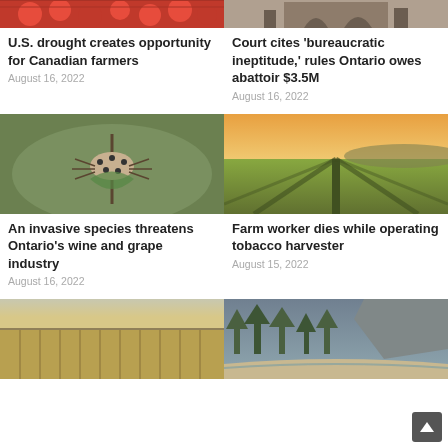[Figure (photo): Tomatoes on a woven surface, top of page left column (cropped)]
[Figure (photo): Stone building with arched entrance, top of page right column (cropped)]
U.S. drought creates opportunity for Canadian farmers
August 16, 2022
Court cites 'bureaucratic ineptitude,' rules Ontario owes abattoir $3.5M
August 16, 2022
[Figure (photo): Spotted lanternfly insect on a plant stem with bokeh green background]
[Figure (photo): Golden sunlit tobacco or crop field rows extending to the horizon]
An invasive species threatens Ontario's wine and grape industry
August 16, 2022
Farm worker dies while operating tobacco harvester
August 15, 2022
[Figure (photo): Wheat or grain field rows under overcast sky]
[Figure (photo): Forest and rocky landscape with trees and riverbank]